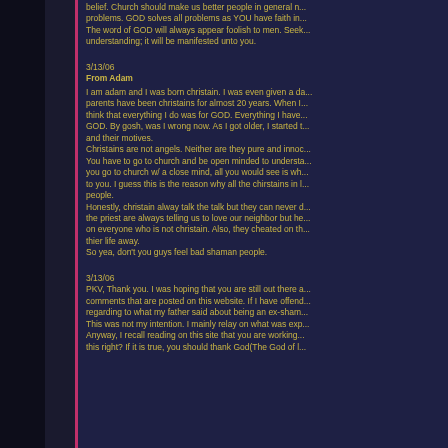belief. Church should make us better people in general n... problems. GOD solves all problems as YOU have faith in... The word of GOD will always appear foolish to men. Seek... understanding; it will be manifested unto you.
3/13/06
From Adam
I am adam and I was born christain. I was even given a d... parents have been christains for almost 20 years. When I... think that everything I do was for GOD. Everything I have... GOD. By gosh, was I wrong now. As I got older, I started t... and their motives.
Christains are not angels. Neither are they pure and innoc... You have to go to church and be open minded to understa... you go to church w/ a close mind, all you would see is wh... to you. I guess this is the reason why all the chirstains in l... people.
Honestly, christain alway talk the talk but they can never d... the priest are always telling us to love our neighbor but he... on everyone who is not christain. Also, they cheated on th... thier life away.
So yea, don't you guys feel bad shaman people.
3/13/06
PKV, Thank you. I was hoping that you are still out there a... comments that are posted on this website. If I have offend... regarding to what my father said about being an ex-sham... This was not my intention. I mainly relay on what was exp... Anyway, I recall reading on this site that you are working... this right? If it is true, you should thank God(The God of l...